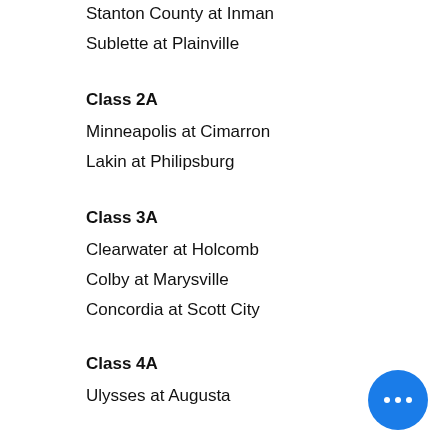Stanton County at Inman
Sublette at Plainville
Class 2A
Minneapolis at Cimarron
Lakin at Philipsburg
Class 3A
Clearwater at Holcomb
Colby at Marysville
Concordia at Scott City
Class 4A
Ulysses at Augusta
Class 5A
Liberal at Maize
Class 6A